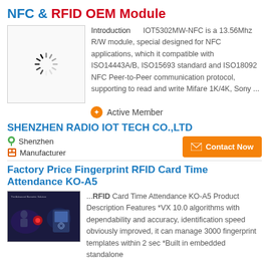NFC & RFID OEM Module
[Figure (photo): Loading spinner icon on white background]
Introduction   IOT5302MW-NFC is a 13.56Mhz R/W module, special designed for NFC applications, which it compatible with ISO14443A/B, ISO15693 standard and ISO18092 NFC Peer-to-Peer communication protocol, supporting to read and write Mifare 1K/4K, Sony ...
Active Member
SHENZHEN RADIO IOT TECH CO.,LTD
Shenzhen
Manufacturer
Contact Now
Factory Price Fingerprint RFID Card Time Attendance KO-A5
[Figure (photo): Dark blue/purple image showing fingerprint scanner device labelled The Advanced Biometric Solution]
...RFID Card Time Attendance KO-A5 Product Description Features *VX 10.0 algorithms with dependability and accuracy, identification speed obviously improved, it can manage 3000 fingerprint templates within 2 sec *Built in embedded standalone